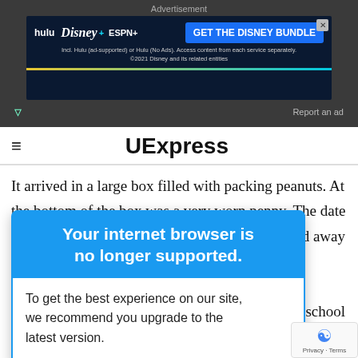[Figure (screenshot): Disney Bundle advertisement banner with Hulu, Disney+, ESPN+ logos and 'GET THE DISNEY BUNDLE' CTA button on dark blue background]
UExpress
It arrived in a large box filled with packing peanuts. At the bottom of the box was a very worn penny. The date
[Figure (screenshot): Browser warning overlay popup with blue header saying 'Your internet browser is no longer supported.' and white body text 'To get the best experience on our site, we recommend you upgrade to the latest version.']
er passed away
his high school
of marria
so in lov